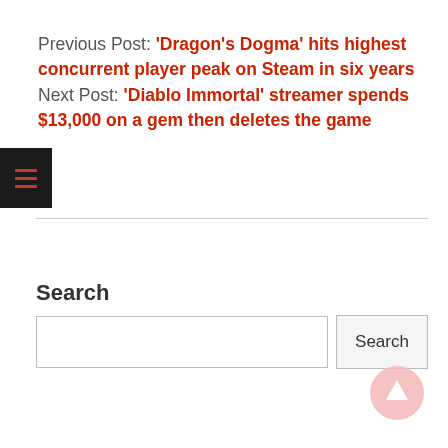Previous Post: 'Dragon's Dogma' hits highest concurrent player peak on Steam in six years
Next Post: 'Diablo Immortal' streamer spends $13,000 on a gem then deletes the game
[Figure (other): Hamburger menu icon (three horizontal red lines) on a dark/black background square]
Search
[Figure (other): Search input box with a Search button to the right]
[Figure (other): Scroll-to-top button: light pink/rose circle with white upward arrow]